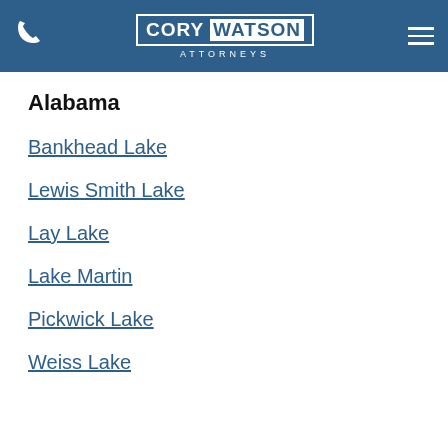Cory Watson Attorneys
Alabama
Bankhead Lake
Lewis Smith Lake
Lay Lake
Lake Martin
Pickwick Lake
Weiss Lake